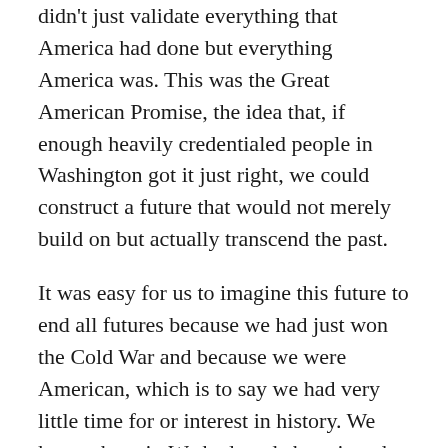didn't just validate everything that America had done but everything America was. This was the Great American Promise, the idea that, if enough heavily credentialed people in Washington got it just right, we could construct a future that would not merely build on but actually transcend the past.
It was easy for us to imagine this future to end all futures because we had just won the Cold War and because we were American, which is to say we had very little time for or interest in history. We knew about it. We had read about it and been tested on it. But we didn't think inside it. We didn't imagine ourselves being subjected to it. No, we were shaping it.
This was the prism through which I viewed our limitless tomorrow when, a month later, I arrived in Paris for a semester. The Strategic Arms Reduction